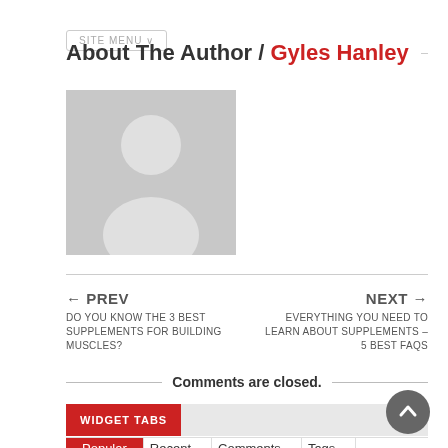SITE MENU
About The Author / Gyles Hanley
[Figure (photo): Default user avatar placeholder — grey square with a silhouette of a person (head and shoulders) in lighter grey]
← PREV
DO YOU KNOW THE 3 BEST SUPPLEMENTS FOR BUILDING MUSCLES?
NEXT →
EVERYTHING YOU NEED TO LEARN ABOUT SUPPLEMENTS – 5 BEST FAQS
Comments are closed.
WIDGET TABS
Popular	Recent	Comments	Tags